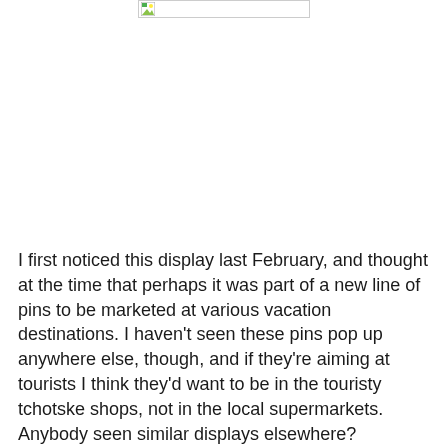[Figure (photo): Small broken/placeholder image icon in the upper center of the page]
I first noticed this display last February, and thought at the time that perhaps it was part of a new line of pins to be marketed at various vacation destinations. I haven't seen these pins pop up anywhere else, though, and if they're aiming at tourists I think they'd want to be in the touristy tchotske shops, not in the local supermarkets. Anybody seen similar displays elsewhere?
Now who's going to like who's in that Pinterest account...